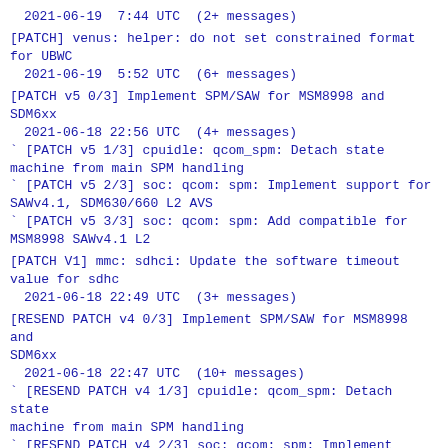2021-06-19  7:44 UTC  (2+ messages)
[PATCH] venus: helper: do not set constrained format for UBWC
 2021-06-19  5:52 UTC  (6+ messages)
[PATCH v5 0/3] Implement SPM/SAW for MSM8998 and SDM6xx
 2021-06-18 22:56 UTC  (4+ messages)
` [PATCH v5 1/3] cpuidle: qcom_spm: Detach state machine from main SPM handling
` [PATCH v5 2/3] soc: qcom: spm: Implement support for SAWv4.1, SDM630/660 L2 AVS
` [PATCH v5 3/3] soc: qcom: spm: Add compatible for MSM8998 SAWv4.1 L2
[PATCH V1] mmc: sdhci: Update the software timeout value for sdhc
 2021-06-18 22:49 UTC  (3+ messages)
[RESEND PATCH v4 0/3] Implement SPM/SAW for MSM8998 and SDM6xx
 2021-06-18 22:47 UTC  (10+ messages)
` [RESEND PATCH v4 1/3] cpuidle: qcom_spm: Detach state machine from main SPM handling
` [RESEND PATCH v4 2/3] soc: qcom: spm: Implement support for SAWv4.1, SDM630/660 L2 AVS
` [RESEND PATCH v4 3/3] soc: qcom: spm: Add compatible for MSM8998 SAWv4.1 L2
[PATCHv2 0/3] iommu/io-pgtable: Optimize partial walk